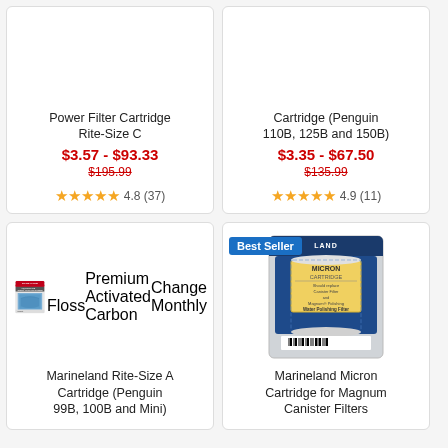[Figure (screenshot): Product listing grid showing four aquarium filter cartridges. Top-left: Power Filter Cartridge Rite-Size C, $3.57-$93.33, was $195.99, 4.8 stars (37 reviews). Top-right: Cartridge (Penguin 110B, 125B and 150B), $3.35-$67.50, was $135.99, 4.9 stars (11 reviews). Bottom-left: Marineland Rite-Size A Cartridge (Penguin 99B, 100B and Mini) with product image. Bottom-right: Marineland Micron Cartridge for Magnum Canister Filters with Best Seller badge.]